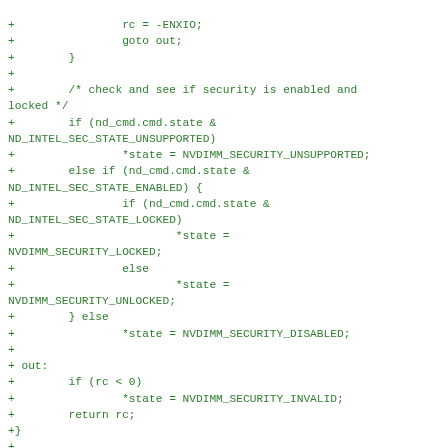+                rc = -ENXIO;
+                goto out;
+        }
+
+        /* check and see if security is enabled and locked */
+        if (nd_cmd.cmd.state &
ND_INTEL_SEC_STATE_UNSUPPORTED)
+                *state = NVDIMM_SECURITY_UNSUPPORTED;
+        else if (nd_cmd.cmd.state &
ND_INTEL_SEC_STATE_ENABLED) {
+                if (nd_cmd.cmd.state &
ND_INTEL_SEC_STATE_LOCKED)
+                        *state =
NVDIMM_SECURITY_LOCKED;
+                else
+                        *state =
NVDIMM_SECURITY_UNLOCKED;
+        } else
+                *state = NVDIMM_SECURITY_DISABLED;
+
+ out:
+        if (rc < 0)
+                *state = NVDIMM_SECURITY_INVALID;
+        return rc;
+}
+
+const struct nvdimm_security_ops intel_security_ops =
{
+        .state = intel_dimm_security_state,
+        .unlock = intel_dimm_security_unlock,